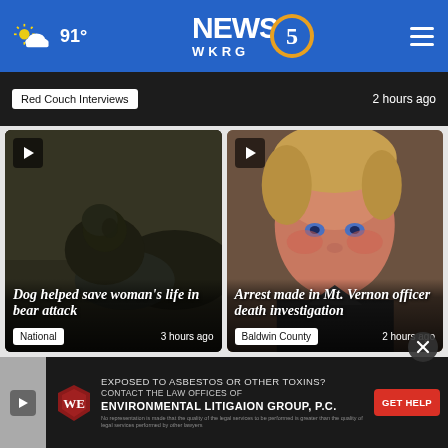NEWS 5 WKRG — 91°
Red Couch Interviews — 2 hours ago
[Figure (photo): Dog sitting near a vehicle in a dark setting with play button overlay. Card shows title 'Dog helped save woman's life in bear attack', tagged National, 3 hours ago]
[Figure (photo): Close-up mugshot of a person with blonde hair and blue eyes. Card shows title 'Arrest made in Mt. Vernon officer death investigation', tagged Baldwin County, 2 hours ago]
[Figure (photo): Advertisement banner: EXPOSED TO ASBESTOS OR OTHER TOXINS? CONTACT THE LAW OFFICES OF ENVIRONMENTAL LITIGAION GROUP, P.C. GET HELP button]